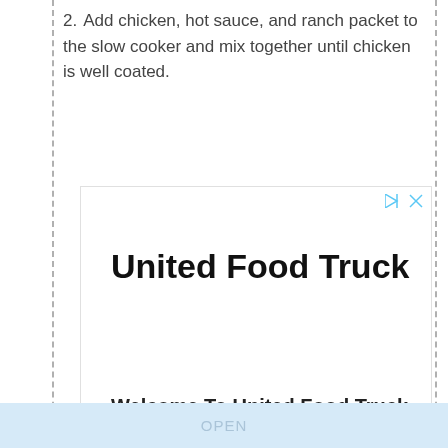2. Add chicken, hot sauce, and ranch packet to the slow cooker and mix together until chicken is well coated.
[Figure (screenshot): Advertisement for United Food Truck. Contains bold large title 'United Food Truck', subtitle 'Welcome To United Food Truck', body text 'We Design, Build And Sell Custom Food Trucks And Concession Trailers Worldwide.', and URL 'united-food-truck.com'. Icons for skip and close in top right corner.]
OPEN